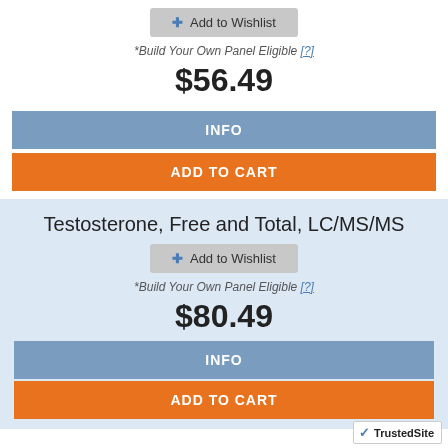+ Add to Wishlist
*Build Your Own Panel Eligible [?]
$56.49
INFO
ADD TO CART
Testosterone, Free and Total, LC/MS/MS
+ Add to Wishlist
*Build Your Own Panel Eligible [?]
$80.49
INFO
ADD TO CART
TrustedSite